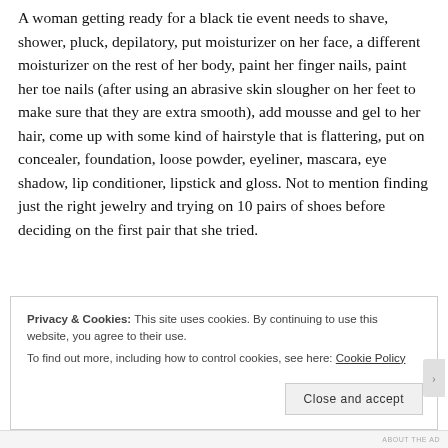A woman getting ready for a black tie event needs to shave, shower, pluck, depilatory, put moisturizer on her face, a different moisturizer on the rest of her body, paint her finger nails, paint her toe nails (after using an abrasive skin slougher on her feet to make sure that they are extra smooth), add mousse and gel to her hair, come up with some kind of hairstyle that is flattering, put on concealer, foundation, loose powder, eyeliner, mascara, eye shadow, lip conditioner, lipstick and gloss. Not to mention finding just the right jewelry and trying on 10 pairs of shoes before deciding on the first pair that she tried.
Privacy & Cookies: This site uses cookies. By continuing to use this website, you agree to their use.
To find out more, including how to control cookies, see here: Cookie Policy